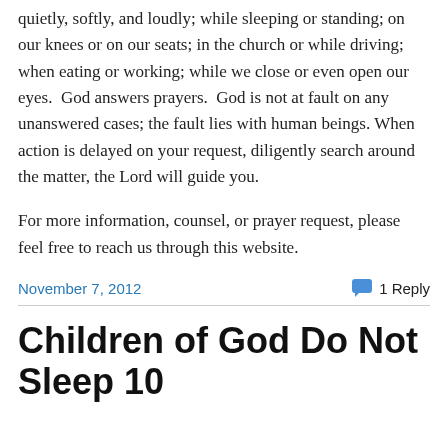quietly, softly, and loudly; while sleeping or standing; on our knees or on our seats; in the church or while driving; when eating or working; while we close or even open our eyes.  God answers prayers.  God is not at fault on any unanswered cases; the fault lies with human beings. When action is delayed on your request, diligently search around the matter, the Lord will guide you.
For more information, counsel, or prayer request, please feel free to reach us through this website.
November 7, 2012  1 Reply
Children of God Do Not Sleep 10